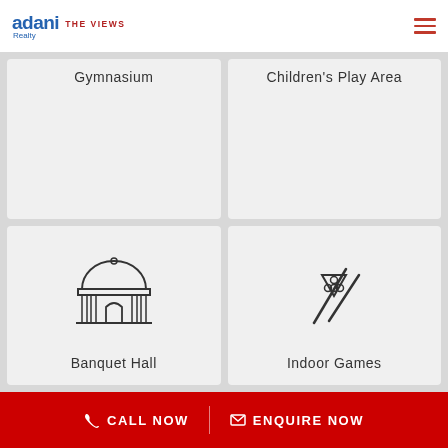[Figure (logo): Adani Realty - The Views logo with hamburger menu]
[Figure (infographic): Grid of 4 amenity cards: Gymnasium (top-left, partially visible), Children's Play Area (top-right, partially visible), Banquet Hall (bottom-left with building/dome icon), Indoor Games (bottom-right with billiards balls and cue sticks icon)]
CALL NOW   ENQUIRE NOW